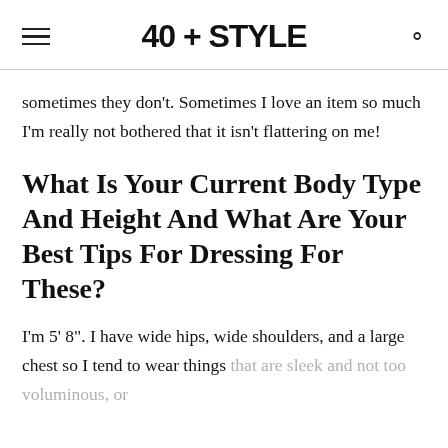40 + STYLE
sometimes they don't. Sometimes I love an item so much I'm really not bothered that it isn't flattering on me!
What Is Your Current Body Type And Height And What Are Your Best Tips For Dressing For These?
I'm 5' 8". I have wide hips, wide shoulders, and a large chest so I tend to wear things that are sleek and not too voluminous, or